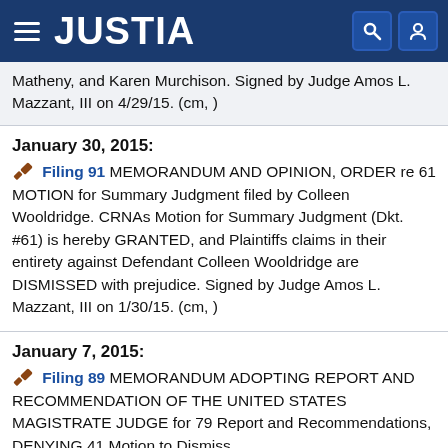JUSTIA
Matheny, and Karen Murchison. Signed by Judge Amos L. Mazzant, III on 4/29/15. (cm, )
January 30, 2015:
Filing 91  MEMORANDUM AND OPINION, ORDER re 61 MOTION for Summary Judgment filed by Colleen Wooldridge. CRNAs Motion for Summary Judgment (Dkt. #61) is hereby GRANTED, and Plaintiffs claims in their entirety against Defendant Colleen Wooldridge are DISMISSED with prejudice. Signed by Judge Amos L. Mazzant, III on 1/30/15. (cm, )
January 7, 2015:
Filing 89  MEMORANDUM ADOPTING REPORT AND RECOMMENDATION OF THE UNITED STATES MAGISTRATE JUDGE for 79 Report and Recommendations, DENYING 41 Motion to Dismiss,